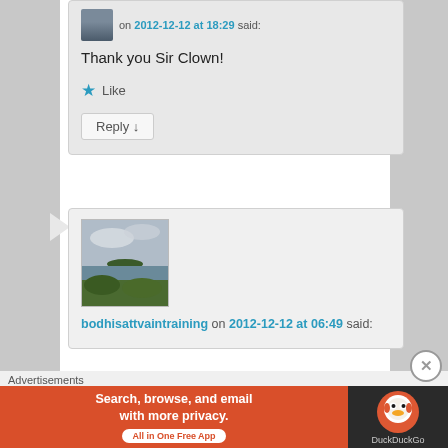on 2012-12-12 at 18:29 said:
Thank you Sir Clown!
★ Like
Reply ↓
[Figure (photo): Landscape photo showing a green island in the distance over water with cloudy sky and green foreground vegetation]
bodhisattvaintraining on 2012-12-12 at 06:49 said:
Advertisements
[Figure (infographic): DuckDuckGo advertisement banner: orange section with text 'Search, browse, and email with more privacy. All in One Free App' and dark section with DuckDuckGo logo]